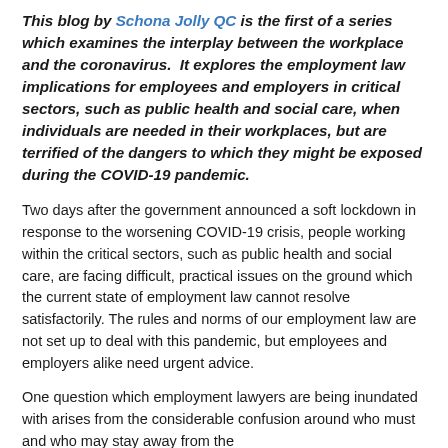This blog by Schona Jolly QC is the first of a series which examines the interplay between the workplace and the coronavirus. It explores the employment law implications for employees and employers in critical sectors, such as public health and social care, when individuals are needed in their workplaces, but are terrified of the dangers to which they might be exposed during the COVID-19 pandemic.
Two days after the government announced a soft lockdown in response to the worsening COVID-19 crisis, people working within the critical sectors, such as public health and social care, are facing difficult, practical issues on the ground which the current state of employment law cannot resolve satisfactorily. The rules and norms of our employment law are not set up to deal with this pandemic, but employees and employers alike need urgent advice.
One question which employment lawyers are being inundated with arises from the considerable confusion around who must and who may stay away from the